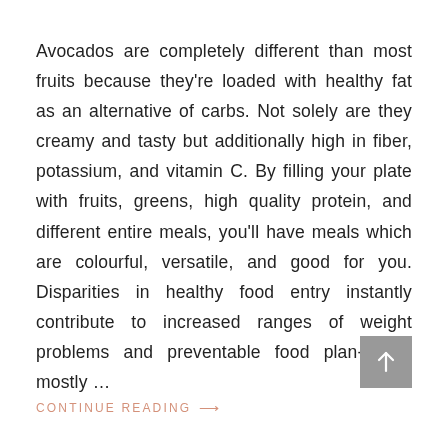Avocados are completely different than most fruits because they're loaded with healthy fat as an alternative of carbs. Not solely are they creamy and tasty but additionally high in fiber, potassium, and vitamin C. By filling your plate with fruits, greens, high quality protein, and different entire meals, you'll have meals which are colourful, versatile, and good for you. Disparities in healthy food entry instantly contribute to increased ranges of weight problems and preventable food plan-based mostly …
CONTINUE READING →